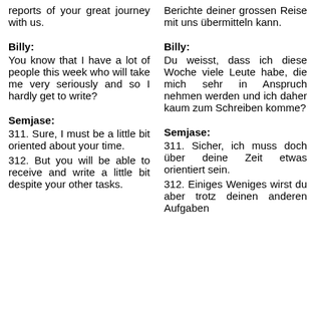reports of your great journey with us.
Berichte deiner grossen Reise mit uns übermitteln kann.
Billy:
You know that I have a lot of people this week who will take me very seriously and so I hardly get to write?
Billy:
Du weisst, dass ich diese Woche viele Leute habe, die mich sehr in Anspruch nehmen werden und ich daher kaum zum Schreiben komme?
Semjase:
311. Sure, I must be a little bit oriented about your time.
Semjase:
311. Sicher, ich muss doch über deine Zeit etwas orientiert sein.
312. But you will be able to receive and write a little bit despite your other tasks.
312. Einiges Weniges wirst du aber trotz deinen anderen Aufgaben